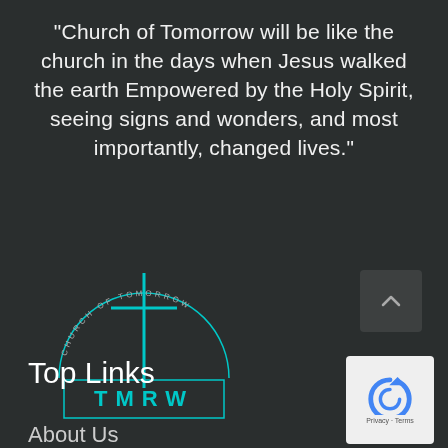“Church of Tomorrow will be like the church in the days when Jesus walked the earth Empowered by the Holy Spirit, seeing signs and wonders, and most importantly, changed lives.”
[Figure (logo): Church of Tomorrow logo: a cyan/teal cross over a semicircle with text 'CHURCH OF TOMORROW' around the arc, and 'TMRW' in teal letters inside a rectangle at the base]
Top Links
About Us